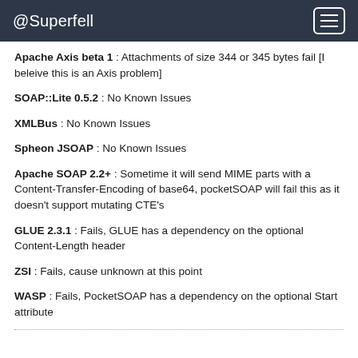@Superfell
Apache Axis beta 1 : Attachments of size 344 or 345 bytes fail [I beleive this is an Axis problem]
SOAP::Lite 0.5.2 : No Known Issues
XMLBus : No Known Issues
Spheon JSOAP : No Known Issues
Apache SOAP 2.2+ : Sometime it will send MIME parts with a Content-Transfer-Encoding of base64, pocketSOAP will fail this as it doesn't support mutating CTE's
GLUE 2.3.1 : Fails, GLUE has a dependency on the optional Content-Length header
ZSI : Fails, cause unknown at this point
WASP : Fails, PocketSOAP has a dependency on the optional Start attribute